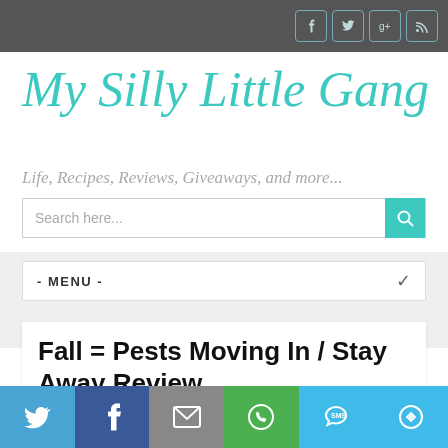My Silly Little Gang - social icons header bar
My Silly Little Gang
Life, Recipes, Reviews, Giveaways, and more...
Search here...
- MENU -
Fall = Pests Moving In / Stay Away Review
Social share bar: Twitter, Facebook, Email, WhatsApp, SMS, More